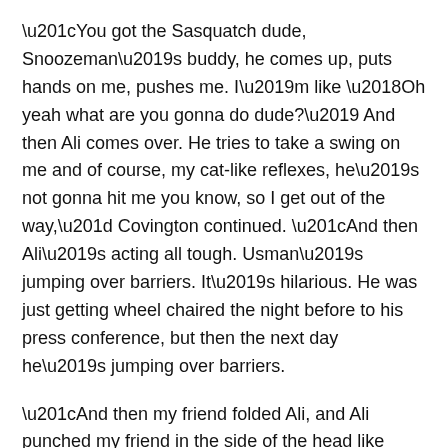“You got the Sasquatch dude, Snoozeman’s buddy, he comes up, puts hands on me, pushes me. I’m like ‘Oh yeah what are you gonna do dude?’ And then Ali comes over. He tries to take a swing on me and of course, my cat-like reflexes, he’s not gonna hit me you know, so I get out of the way,” Covington continued. “And then Ali’s acting all tough. Usman’s jumping over barriers. It’s hilarious. He was just getting wheel chaired the night before to his press conference, but then the next day he’s jumping over barriers.
“And then my friend folded Ali, and Ali punched my friend in the side of the head like three or four f*****g times, like hard. What the f**k are you doing dude? We’re professionals, you’re a manager! How embarrassing, a f*****g manager is punching some random guy in a buffet line. Like that’s embarrassing. This guy should be deported back to whatever country he snitched on, what was it, Egypt or whatever? Was that the